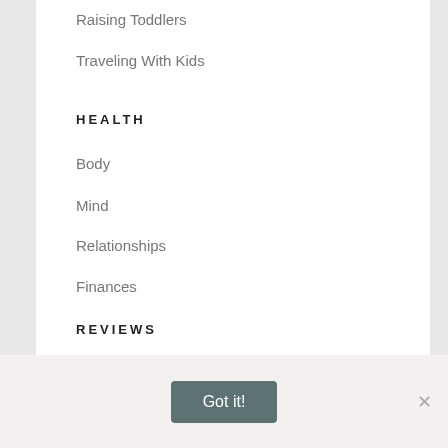Raising Toddlers
Traveling With Kids
HEALTH
Body
Mind
Relationships
Finances
REVIEWS
Mama Gear
Got it!
×